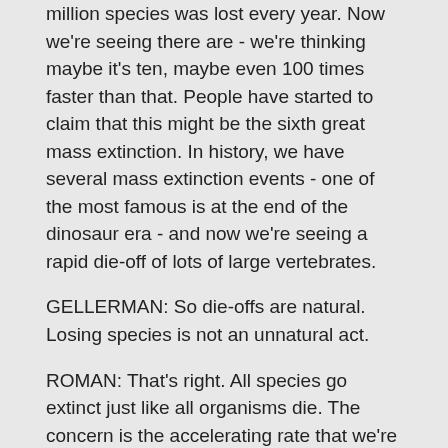million species was lost every year. Now we're seeing there are - we're thinking maybe it's ten, maybe even 100 times faster than that. People have started to claim that this might be the sixth great mass extinction. In history, we have several mass extinction events - one of the most famous is at the end of the dinosaur era - and now we're seeing a rapid die-off of lots of large vertebrates.
GELLERMAN: So die-offs are natural. Losing species is not an unnatural act.
ROMAN: That's right. All species go extinct just like all organisms die. The concern is the accelerating rate that we're seeing right now, largely because of human influence, either through habitat degradation or direct hunting or climate change.
GELLERMAN: When we try to protect animals, are we